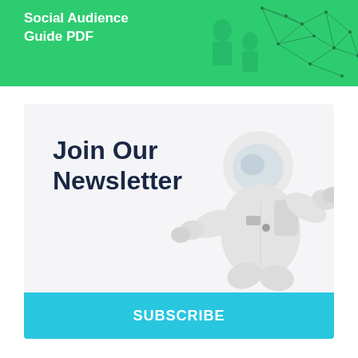Social Audience Guide PDF
[Figure (illustration): Green banner with network/polygon geometric graphic in the upper right and ghosted silhouette figures on the left]
Join Our Newsletter
[Figure (photo): Astronaut in white spacesuit floating, rendered in grayscale/desaturated tones on a light background]
SUBSCRIBE